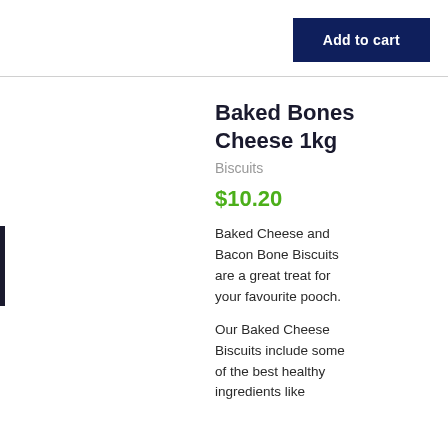Add to cart
Baked Bones Cheese 1kg
Biscuits
$10.20
Baked Cheese and Bacon Bone Biscuits are a great treat for your favourite pooch.
Our Baked Cheese Biscuits include some of the best healthy ingredients like